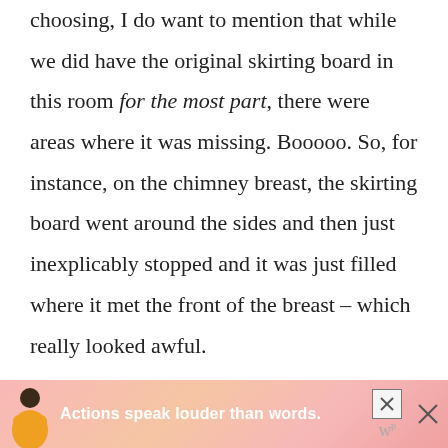choosing, I do want to mention that while we did have the original skirting board in this room for the most part, there were areas where it was missing. Booooo. So, for instance, on the chimney breast, the skirting board went around the sides and then just inexplicably stopped and it was just filled where it met the front of the breast – which really looked awful.
[Figure (infographic): Advertisement banner at bottom: pink/salmon gradient background with illustration of a person, text 'Actions speak louder than words.' in white bold, close button X and secondary close button with 'w' logo]